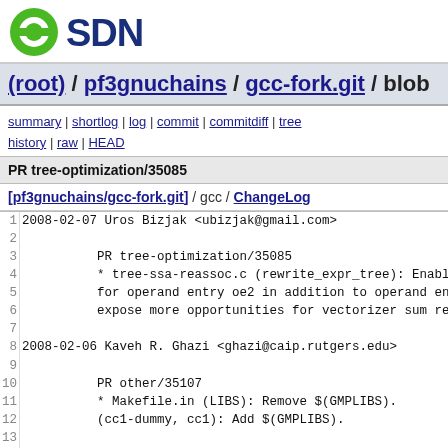[Figure (logo): OSDN logo with green circular icon and dark blue SDN text]
(root) / pf3gnuchains / gcc-fork.git / blob
summary | shortlog | log | commit | commitdiff | tree history | raw | HEAD
PR tree-optimization/35085
[pf3gnuchains/gcc-fork.git] / gcc / ChangeLog
1  2008-02-07  Uros Bizjak  <ubizjak@gmail.com>
2
3          PR tree-optimization/35085
4          * tree-ssa-reassoc.c (rewrite_expr_tree): Enabl
5          for operand entry oe2 in addition to operand en
6          expose more opportunities for vectorizer sum re
7
8  2008-02-06  Kaveh R. Ghazi  <ghazi@caip.rutgers.edu>
9
10         PR other/35107
11         * Makefile.in (LIBS): Remove $(GMPLIBS).
12         (cc1-dummy, cc1): Add $(GMPLIBS).
13
14 2008-02-06  Jan Hubicka  <jh@suse.cz>
15
16         PR target/23322
17         * i386.md (moddf_integer): Do not produce parti
18         targets where it hurts.